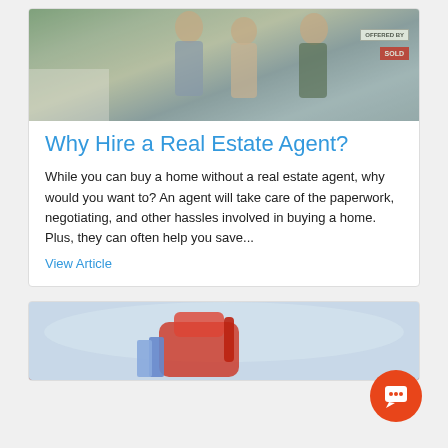[Figure (photo): Photo of a couple shaking hands with a real estate agent in front of a house with a SOLD sign]
Why Hire a Real Estate Agent?
While you can buy a home without a real estate agent, why would you want to? An agent will take care of the paperwork, negotiating, and other hassles involved in buying a home. Plus, they can often help you save...
View Article
[Figure (photo): Partial photo of a child's backpack with colorful school supplies, partially visible at bottom of page]